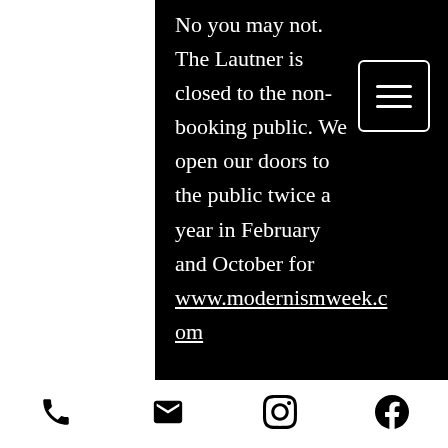No you may not. The Lautner is closed to the non-booking public. We open our doors to the public twice a year in February and October for www.modernismweek.com
4. Is there a public restaurant or bar at The Lautner?
No there is not.
[phone] [email] [instagram] [facebook]